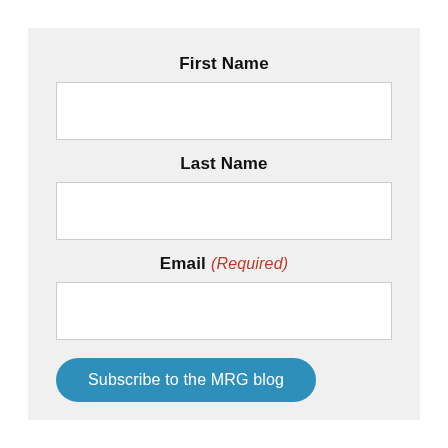First Name
[Figure (other): Empty text input field for First Name]
Last Name
[Figure (other): Empty text input field for Last Name]
Email (Required)
[Figure (other): Empty text input field for Email]
Subscribe to the MRG blog